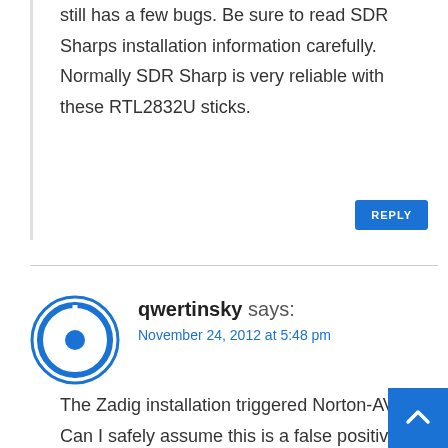still has a few bugs. Be sure to read SDR Sharps installation information carefully. Normally SDR Sharp is very reliable with these RTL2832U sticks.
REPLY
qwertinsky says:
November 24, 2012 at 5:48 pm
The Zadig installation triggered Norton-AV.
Can I safely assume this is a false positive?